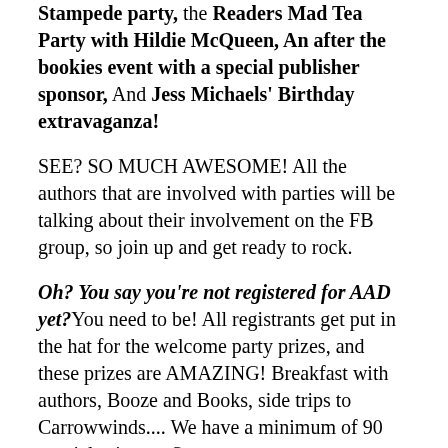Stampede party, the Readers Mad Tea Party with Hildie McQueen, An after the bookies event with a special publisher sponsor, And Jess Michaels' Birthday extravaganza!
SEE? SO MUCH AWESOME! All the authors that are involved with parties will be talking about their involvement on the FB group, so join up and get ready to rock.
Oh? You say you're not registered for AAD yet? You need to be! All registrants get put in the hat for the welcome party prizes, and these prizes are AMAZING! Breakfast with authors, Booze and Books, side trips to Carrowwinds.... We have a minimum of 90 special prizes.... So...
You need to rock this con! And as if this wasn't enough… AAD will be giving away